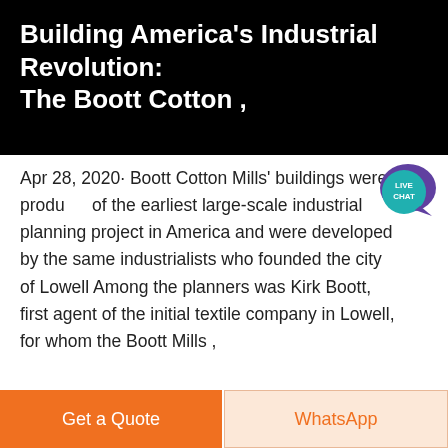Building America's Industrial Revolution: The Boott Cotton ,
[Figure (infographic): Live Chat speech bubble badge with teal/purple colors showing LIVE CHAT text]
Apr 28, 2020· Boott Cotton Mills' buildings were products of the earliest large-scale industrial planning project in America and were developed by the same industrialists who founded the city of Lowell Among the planners was Kirk Boott, first agent of the initial textile company in Lowell, for whom the Boott Mills ,
[Figure (other): Gray button with blue text reading Get More]
[Figure (photo): Industrial interior photo showing large dark pipe/machinery, metal ductwork, and wooden staircase structure in a mill building]
[Figure (other): Bottom action bar with orange Get a Quote button and WhatsApp button]